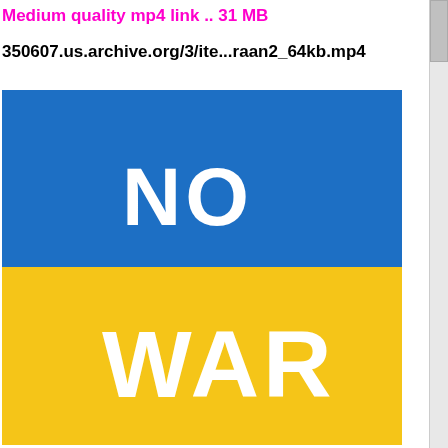Medium quality mp4 link .. 31 MB
350607.us.archive.org/3/ite...raan2_64kb.mp4
[Figure (illustration): Ukrainian flag (blue top half, yellow bottom half) with 'NO' written in large white bold letters on the blue section and 'WAR' written in large white bold letters on the yellow section.]